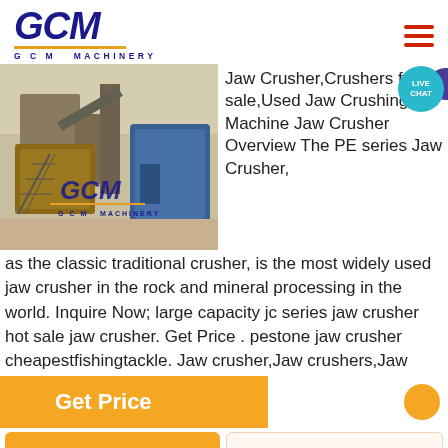[Figure (logo): GCM Machinery logo in dark blue italic text with gold underline and tagline 'G C M MACHINERY']
[Figure (photo): Jaw crusher / rock crushing machinery equipment at an outdoor industrial site, with GCM Machinery watermark overlay]
Jaw Crusher,Crushers for sale,Used Jaw Crushing Machine Jaw Crusher Overview The PE series Jaw Crusher, as the classic traditional crusher, is the most widely used jaw crusher in the rock and mineral processing in the world. Inquire Now; large capacity jc series jaw crusher hot sale jaw crusher. Get Price . pestone jaw crusher cheapestfishingtackle. Jaw crusher,Jaw crushers,Jaw
Get Price
Get a Quote
WhatsApp